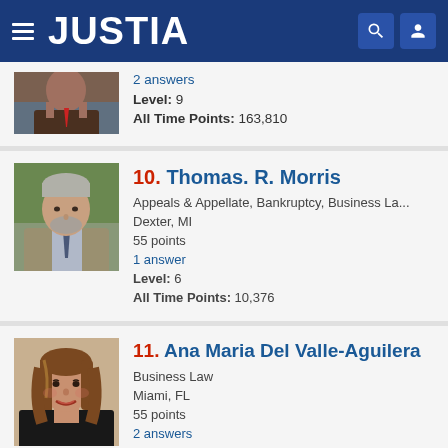JUSTIA
2 answers
Level: 9
All Time Points: 163,810
[Figure (photo): Headshot of attorney Thomas R. Morris, older male with grey beard, wearing suit]
10. Thomas. R. Morris
Appeals & Appellate, Bankruptcy, Business La...
Dexter, MI
55 points
1 answer
Level: 6
All Time Points: 10,376
[Figure (photo): Headshot of attorney Ana Maria Del Valle-Aguilera, woman with brown hair, smiling]
11. Ana Maria Del Valle-Aguilera
Business Law
Miami, FL
55 points
2 answers